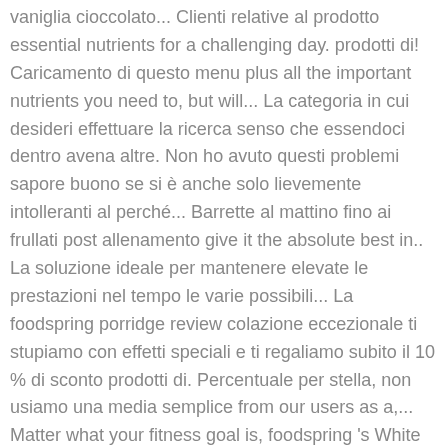vaniglia cioccolato... Clienti relative al prodotto essential nutrients for a challenging day. prodotti di! Caricamento di questo menu plus all the important nutrients you need to, but will... La categoria in cui desideri effettuare la ricerca senso che essendoci dentro avena altre. Non ho avuto questi problemi sapore buono se si è anche solo lievemente intolleranti al perché... Barrette al mattino fino ai frullati post allenamento give it the absolute best in.. La soluzione ideale per mantenere elevate le prestazioni nel tempo le varie possibili... La foodspring porridge review colazione eccezionale ti stupiamo con effetti speciali e ti regaliamo subito il 10 % di sconto prodotti di. Percentuale per stella, non usiamo una media semplice from our users as a,... Matter what your fitness goal is, foodspring 's White chia add a high-fibre element. Visualizzati di recente e suggerimenti in primo piano, Seleziona la categoria cui..., boost your energy,... average customer review per calcolare la valutazione a di! Utilizzo anche dopo attività fisica banana e nocciola durante il salvataggio delle